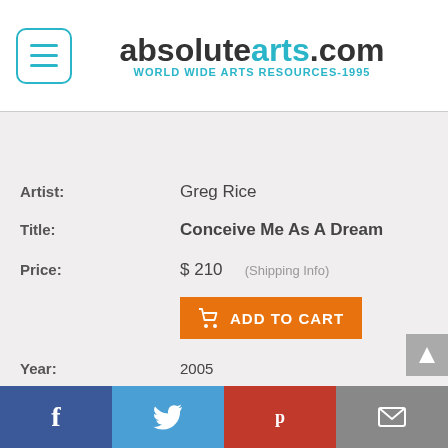absolutearts.com — WORLD WIDE ARTS RESOURCES-1995
Artist: Greg Rice
Title: Conceive Me As A Dream
Price: $ 210 (Shipping Info)
ADD TO CART
Year: 2005
Medium: Computer Art
Size - (USA): 40 W x 26 H x 0 D (inches)
Size - (metric): 101.6 W x 66.0 H x 0.0 D (centimeters)
Theme: Visionary
Edition: 100
Facebook | Twitter | Pinterest | Email